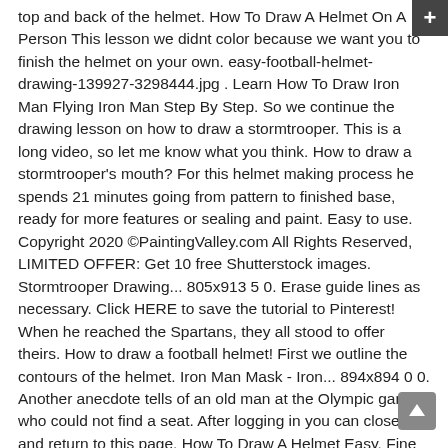top and back of the helmet. How To Draw A Helmet On A Person This lesson we didnt color because we want you to finish the helmet on your own. easy-football-helmet-drawing-139927-3298444.jpg . Learn How To Draw Iron Man Flying Iron Man Step By Step. So we continue the drawing lesson on how to draw a stormtrooper. This is a long video, so let me know what you think. How to draw a stormtrooper's mouth? For this helmet making process he spends 21 minutes going from pattern to finished base, ready for more features or sealing and paint. Easy to use. Copyright 2020 ©PaintingValley.com All Rights Reserved, LIMITED OFFER: Get 10 free Shutterstock images. Stormtrooper Drawing... 805x913 5 0. Erase guide lines as necessary. Click HERE to save the tutorial to Pinterest! When he reached the Spartans, they all stood to offer theirs. How to draw a football helmet! First we outline the contours of the helmet. Iron Man Mask - Iron... 894x894 0 0. Another anecdote tells of an old man at the Olympic games who could not find a seat. After logging in you can close it and return to this page. How To Draw A Helmet Easy, Fine Tutorial, How To Draw A Helmet Easy All the materials are intended for educational purposes only. Most Downloads Size Popular. THANKS! We see a rounded oval shape that extends slightly downward. Step 4.